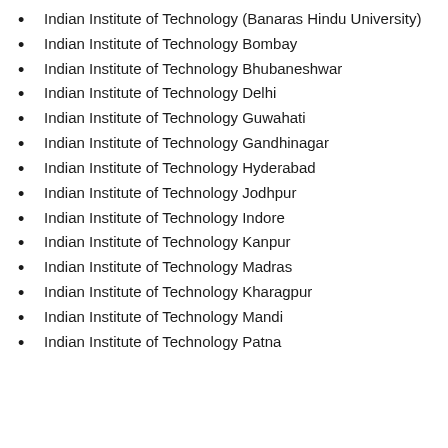Indian Institute of Technology (Banaras Hindu University)
Indian Institute of Technology Bombay
Indian Institute of Technology Bhubaneshwar
Indian Institute of Technology Delhi
Indian Institute of Technology Guwahati
Indian Institute of Technology Gandhinagar
Indian Institute of Technology Hyderabad
Indian Institute of Technology Jodhpur
Indian Institute of Technology Indore
Indian Institute of Technology Kanpur
Indian Institute of Technology Madras
Indian Institute of Technology Kharagpur
Indian Institute of Technology Mandi
Indian Institute of Technology Patna